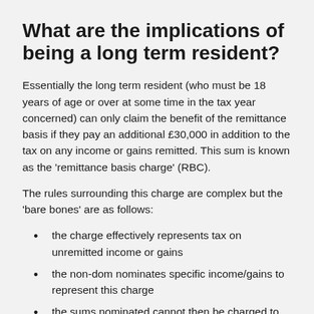What are the implications of being a long term resident?
Essentially the long term resident (who must be 18 years of age or over at some time in the tax year concerned) can only claim the benefit of the remittance basis if they pay an additional £30,000 in addition to the tax on any income or gains remitted. This sum is known as the 'remittance basis charge' (RBC).
The rules surrounding this charge are complex but the 'bare bones' are as follows:
the charge effectively represents tax on unremitted income or gains
the non-dom nominates specific income/gains to represent this charge
the sums nominated cannot then be charged to UK tax even if they are subsequently remitted to the UK in a later year